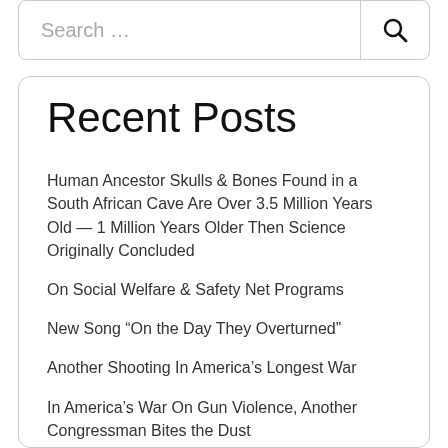Search …
Recent Posts
Human Ancestor Skulls & Bones Found in a South African Cave Are Over 3.5 Million Years Old — 1 Million Years Older Then Science Originally Concluded
On Social Welfare & Safety Net Programs
New Song “On the Day They Overturned”
Another Shooting In America’s Longest War
In America’s War On Gun Violence, Another Congressman Bites the Dust
With America Now In a Civil War, After 20 Mass Shootings In a Week, Anyone Who Is Against Gun